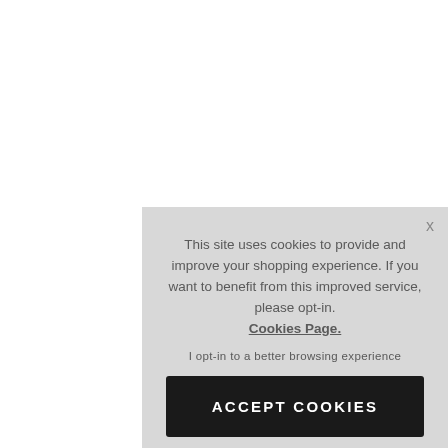This site uses cookies to provide and improve your shopping experience. If you want to benefit from this improved service, please opt-in. Cookies Page.
I opt-in to a better browsing experience
ACCEPT COOKIES